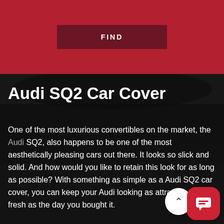[Figure (screenshot): Red background bar with a dark maroon FIND button centered on it]
Audi SQ2 Car Cover
One of the most luxurious convertibles on the market, the Audi SQ2, also happens to be one of the most aesthetically pleasing cars out there. It looks so slick and solid. And how would you like to retain this look for as long as possible? With something as simple as a Audi SQ2 car cover, you can keep your Audi looking as attractive and fresh as the day you bought it.
POPULAR PRODUCTS